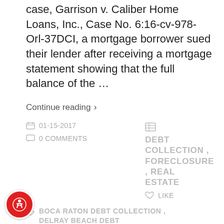case, Garrison v. Caliber Home Loans, Inc., Case No. 6:16-cv-978-Orl-37DCI, a mortgage borrower sued their lender after receiving a mortgage statement showing that the full balance of the …
Continue reading ›
01-15-2017
0 COMMENTS
DEBT COLLECTION , FORECLOSURE , REAL ESTATE
LIKE
BOCA RATON DEBT COLLECTION , DELRAY BEACH DEBT COLLECTION , DELRAY BEACH FORECLOSURE DEFENSE , FORT LAUDERDALE DEBT…